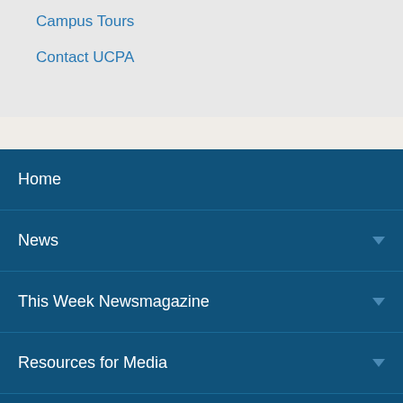Campus Tours
Contact UCPA
Home
News
This Week Newsmagazine
Resources for Media
Search News...
[Figure (infographic): Social media icons: Facebook, Twitter, YouTube, Instagram]